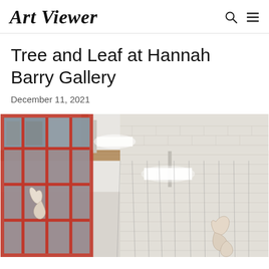Art Viewer
Tree and Leaf at Hannah Barry Gallery
December 11, 2021
[Figure (photo): Interior of Hannah Barry Gallery showing a white brick wall, red-framed large windows on the left, exposed wooden beam ceiling structure, fluorescent tube lights hanging from above, and sculptural forms suspended by thin strings from the ceiling. The sculptures are organic, bone-like or ceramic shapes in off-white/cream color.]